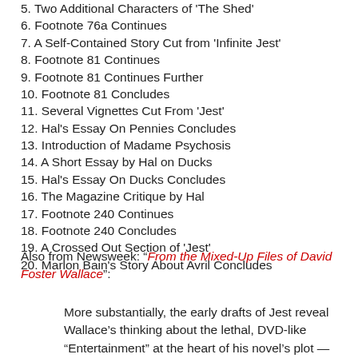5. Two Additional Characters of 'The Shed'
6. Footnote 76a Continues
7. A Self-Contained Story Cut from 'Infinite Jest'
8. Footnote 81 Continues
9. Footnote 81 Continues Further
10. Footnote 81 Concludes
11. Several Vignettes Cut From 'Jest'
12. Hal's Essay On Pennies Concludes
13. Introduction of Madame Psychosis
14. A Short Essay by Hal on Ducks
15. Hal's Essay On Ducks Concludes
16. The Magazine Critique by Hal
17. Footnote 240 Continues
18. Footnote 240 Concludes
19. A Crossed Out Section of 'Jest'
20. Marlon Bain's Story About Avril Concludes
Also from Newsweek: "From the Mixed-Up Files of David Foster Wallace":
More substantially, the early drafts of Jest reveal Wallace's thinking about the lethal, DVD-like “Entertainment” at the heart of his novel's plot —